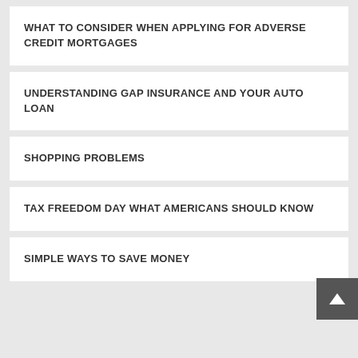WHAT TO CONSIDER WHEN APPLYING FOR ADVERSE CREDIT MORTGAGES
UNDERSTANDING GAP INSURANCE AND YOUR AUTO LOAN
SHOPPING PROBLEMS
TAX FREEDOM DAY WHAT AMERICANS SHOULD KNOW
SIMPLE WAYS TO SAVE MONEY